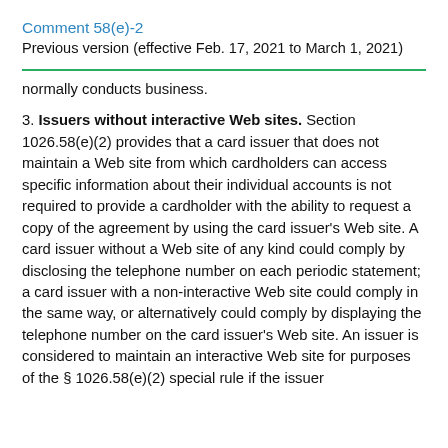Comment 58(e)-2
Previous version (effective Feb. 17, 2021 to March 1, 2021)
normally conducts business.
3. Issuers without interactive Web sites. Section 1026.58(e)(2) provides that a card issuer that does not maintain a Web site from which cardholders can access specific information about their individual accounts is not required to provide a cardholder with the ability to request a copy of the agreement by using the card issuer's Web site. A card issuer without a Web site of any kind could comply by disclosing the telephone number on each periodic statement; a card issuer with a non-interactive Web site could comply in the same way, or alternatively could comply by displaying the telephone number on the card issuer's Web site. An issuer is considered to maintain an interactive Web site for purposes of the § 1026.58(e)(2) special rule if the issuer